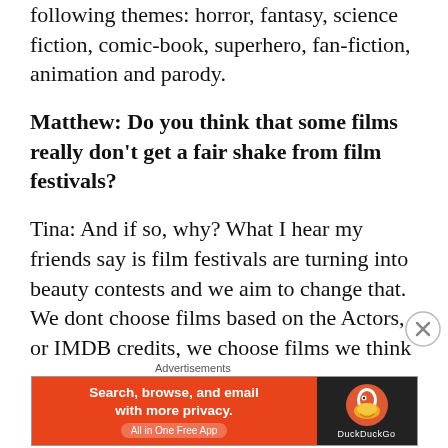following themes: horror, fantasy, science fiction, comic-book, superhero, fan-fiction, animation and parody.
Matthew: Do you think that some films really don’t get a fair shake from film festivals?
Tina: And if so, why? What I hear my friends say is film festivals are turning into beauty contests and we aim to change that. We dont choose films based on the Actors, or IMDB credits, we choose films we think are entertaining to our attendees and sometimes they…
[Figure (other): DuckDuckGo advertisement banner: orange left side reading 'Search, browse, and email with more privacy. All in One Free App' and dark right side with DuckDuckGo duck logo and 'DuckDuckGo' text]
Advertisements